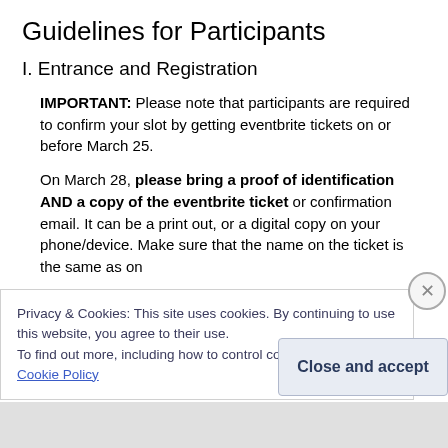Guidelines for Participants
I. Entrance and Registration
IMPORTANT: Please note that participants are required to confirm your slot by getting eventbrite tickets on or before March 25.
On March 28, please bring a proof of identification AND a copy of the eventbrite ticket or confirmation email. It can be a print out, or a digital copy on your phone/device. Make sure that the name on the ticket is the same as on
Privacy & Cookies: This site uses cookies. By continuing to use this website, you agree to their use.
To find out more, including how to control cookies, see here: Cookie Policy
Close and accept